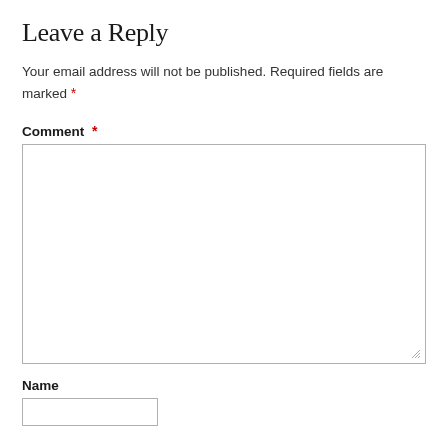Leave a Reply
Your email address will not be published. Required fields are marked *
Comment *
Name